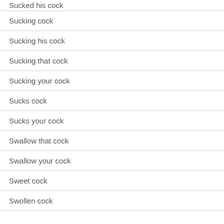Sucked his cock
Sucking cock
Sucking his cock
Sucking that cock
Sucking your cock
Sucks cock
Sucks your cock
Swallow that cock
Swallow your cock
Sweet cock
Swollen cock